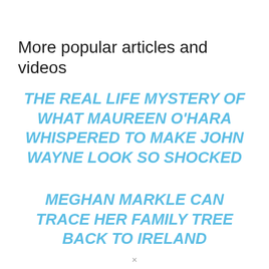More popular articles and videos
THE REAL LIFE MYSTERY OF WHAT MAUREEN O'HARA WHISPERED TO MAKE JOHN WAYNE LOOK SO SHOCKED
MEGHAN MARKLE CAN TRACE HER FAMILY TREE BACK TO IRELAND